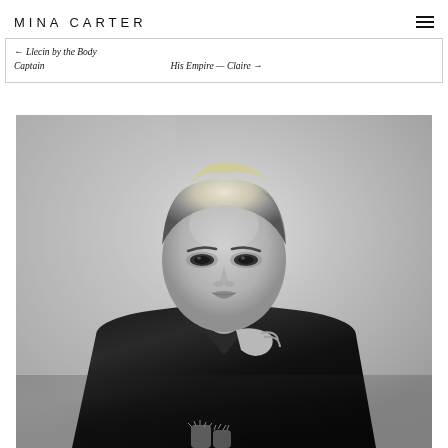MINA CARTER
← Llecin by the Body Captain   His Empire — Claire →
[Figure (photo): Black and white portrait photograph of a woman with short blonde hair wearing a dark blazer, posed against a light background, holding what appears to be a cactus at bottom]